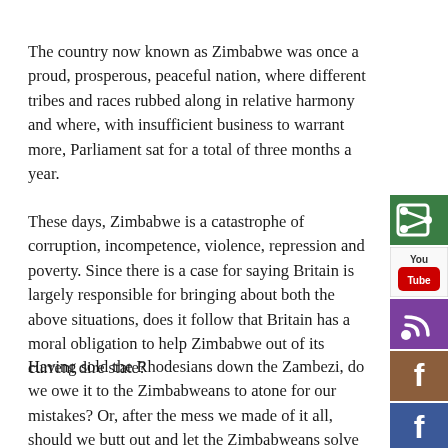The country now known as Zimbabwe was once a proud, prosperous, peaceful nation, where different tribes and races rubbed along in relative harmony and where, with insufficient business to warrant more, Parliament sat for a total of three months a year.
These days, Zimbabwe is a catastrophe of corruption, incompetence, violence, repression and poverty. Since there is a case for saying Britain is largely responsible for bringing about both the above situations, does it follow that Britain has a moral obligation to help Zimbabwe out of its current dire state?
Having sold the Rhodesians down the Zambezi, do we owe it to the Zimbabweans to atone for our mistakes? Or, after the mess we made of it all, should we butt out and let the Zimbabweans solve their own problems in their own way?
[Figure (other): Social media share buttons sidebar on right edge: green share icon, YouTube, RSS/podcast (purple), Facebook (orange/brown), Facebook (blue), Twitter/t (black)]